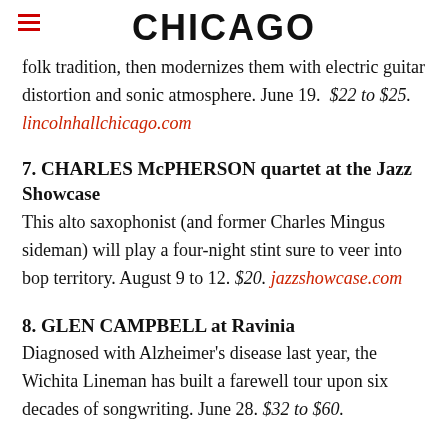CHICAGO
folk tradition, then modernizes them with electric guitar distortion and sonic atmosphere. June 19. $22 to $25. lincolnhallchicago.com
7. CHARLES McPHERSON quartet at the Jazz Showcase
This alto saxophonist (and former Charles Mingus sideman) will play a four-night stint sure to veer into bop territory. August 9 to 12. $20. jazzshowcase.com
8. GLEN CAMPBELL at Ravinia
Diagnosed with Alzheimer's disease last year, the Wichita Lineman has built a farewell tour upon six decades of songwriting. June 28. $32 to $60.